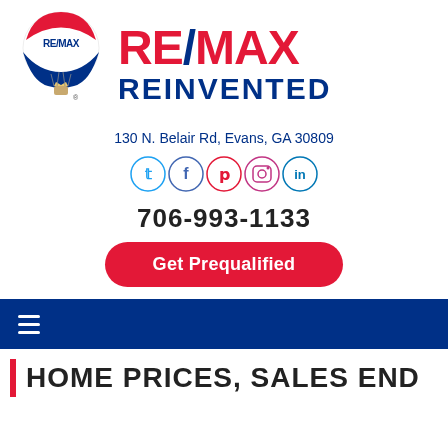[Figure (logo): RE/MAX hot air balloon logo with red and blue balloon, small crown and registered trademark symbol at bottom]
RE/MAX REINVENTED
130 N. Belair Rd, Evans, GA 30809
[Figure (infographic): Row of five social media icons in circles: Twitter, Facebook, Pinterest, Instagram, LinkedIn]
706-993-1133
Get Prequalified
≡ (navigation menu bar)
HOME PRICES, SALES END